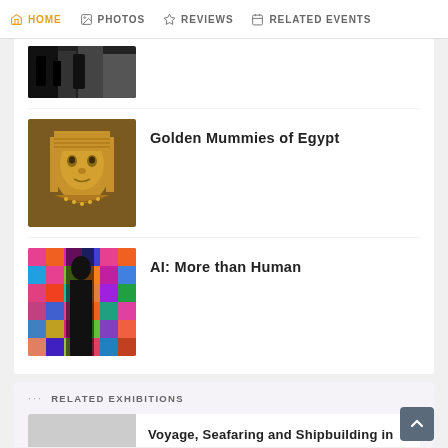HOME  PHOTOS  REVIEWS  RELATED EVENTS
[Figure (photo): Partial thumbnail of an exhibition image at top, cropped]
[Figure (photo): Golden mummy mask from ancient Egypt, gilded facial sculpture with ornate headdress]
Golden Mummies of Egypt
[Figure (photo): Silhouette of a person standing in front of a colorful grid of human portrait photos, AI exhibition]
AI: More than Human
RELATED EXHIBITIONS
Voyage, Seafaring and Shipbuilding in Greece from Antiquity to Modern Times
Mangasia: Wonderlands of Asian Com